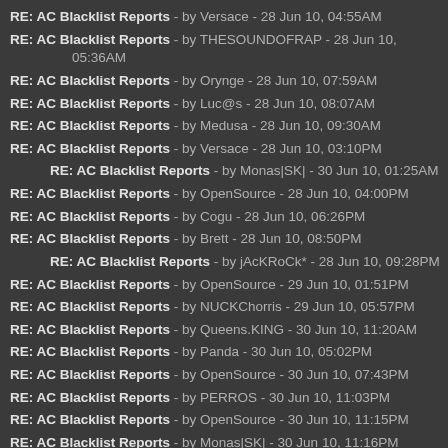RE: AC Blacklist Reports - by Versace - 28 Jun 10, 04:55AM
RE: AC Blacklist Reports - by THESOUNDOFRAP - 28 Jun 10, 05:36AM
RE: AC Blacklist Reports - by Orynge - 28 Jun 10, 07:59AM
RE: AC Blacklist Reports - by Luc@s - 28 Jun 10, 08:07AM
RE: AC Blacklist Reports - by Medusa - 28 Jun 10, 09:30AM
RE: AC Blacklist Reports - by Versace - 28 Jun 10, 03:10PM
RE: AC Blacklist Reports - by Monas|SK| - 30 Jun 10, 01:25AM
RE: AC Blacklist Reports - by OpenSource - 28 Jun 10, 04:00PM
RE: AC Blacklist Reports - by Cogu - 28 Jun 10, 06:26PM
RE: AC Blacklist Reports - by Brett - 28 Jun 10, 08:50PM
RE: AC Blacklist Reports - by jAcKRoCk* - 28 Jun 10, 09:28PM
RE: AC Blacklist Reports - by OpenSource - 29 Jun 10, 01:51PM
RE: AC Blacklist Reports - by NUCKChorris - 29 Jun 10, 05:57PM
RE: AC Blacklist Reports - by Queens.KING - 30 Jun 10, 11:20AM
RE: AC Blacklist Reports - by Panda - 30 Jun 10, 05:02PM
RE: AC Blacklist Reports - by OpenSource - 30 Jun 10, 07:43PM
RE: AC Blacklist Reports - by PERROS - 30 Jun 10, 11:03PM
RE: AC Blacklist Reports - by OpenSource - 30 Jun 10, 11:15PM
RE: AC Blacklist Reports - by Monas|SK| - 30 Jun 10, 11:16PM
RE: AC Blacklist Reports - by Billybob - 01 Jul 10, 10:18PM
RE: AC Blacklist Reports - by PERROS - 01 Jul 10, 07:09PM
RE: AC Blacklist Reports - by Ksyrium - 01 Jul 10, 10:40PM
RE: AC Blacklist Reports - by Queens.KING - 01 Jul 10, 11:12PM
RE: AC Blacklist Reports - by ValDiGna - 02 Jul 10, 02:33PM
RE: AC Blacklist Reports - by Panda - 02 Jul 10, 11:13PM